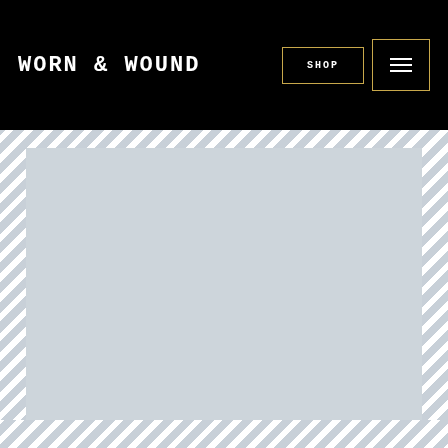WORN & WOUND
[Figure (screenshot): Navigation bar with WORN & WOUND logo on left, SHOP button and hamburger menu button on right, black background]
[Figure (photo): Large light gray placeholder image block 1]
[Figure (photo): Large light gray placeholder image block 2]